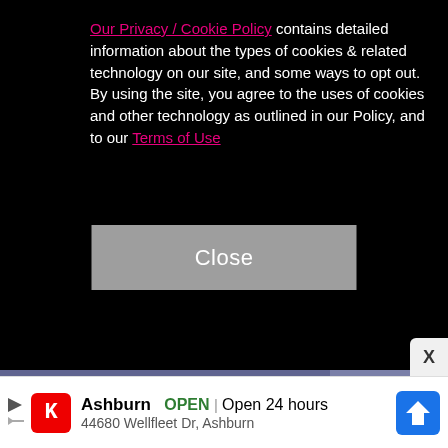Our Privacy / Cookie Policy contains detailed information about the types of cookies & related technology on our site, and some ways to opt out. By using the site, you agree to the uses of cookies and other technology as outlined in our Policy, and to our Terms of Use
[Figure (other): Close button on cookie consent overlay banner]
[Figure (photo): Photo of a smiling woman with short hair and long earrings, in front of a blue-purple background with partial text 'VE SPO' visible]
[Figure (other): X close button on bottom right of screen]
Ashburn   OPEN | Open 24 hours
44680 Wellfleet Dr, Ashburn